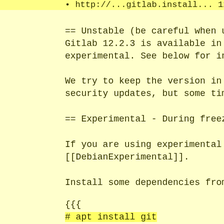== Unstable (be careful when updating packages!) == Gitlab 12.2.3 is available in unstable but not yet in experimental. See below for installing from experimental.
We try to keep the version in unstable in sync with security updates, but some times dependencies prevent that.
== Experimental - During freeze and transition ==
If you are using experimental for the first time, read [[DebianExperimental]].
Install some dependencies from experimental:
{{{
# apt install git
# apt install ruby-aws-sdk/experimental
}}}